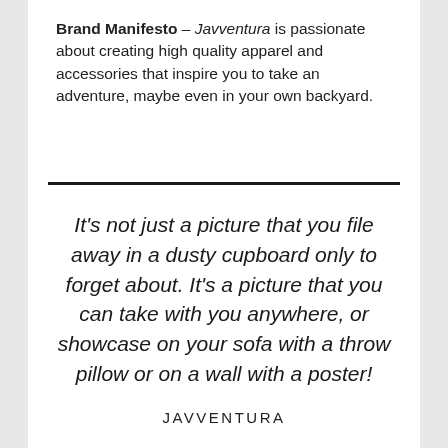Brand Manifesto – Javventura is passionate about creating high quality apparel and accessories that inspire you to take an adventure, maybe even in your own backyard.
It's not just a picture that you file away in a dusty cupboard only to forget about. It's a picture that you can take with you anywhere, or showcase on your sofa with a throw pillow or on a wall with a poster!
JAVVENTURA